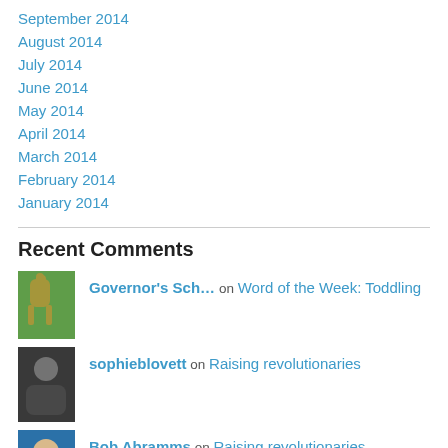September 2014
August 2014
July 2014
June 2014
May 2014
April 2014
March 2014
February 2014
January 2014
Recent Comments
Governor's Sch… on Word of the Week: Toddling
sophieblovett on Raising revolutionaries
Bob Abramms on Raising revolutionaries